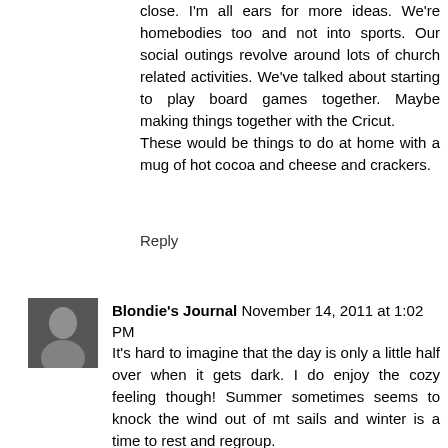close. I'm all ears for more ideas. We're homebodies too and not into sports. Our social outings revolve around lots of church related activities. We've talked about starting to play board games together. Maybe making things together with the Cricut.
These would be things to do at home with a mug of hot cocoa and cheese and crackers.
Reply
Blondie's Journal November 14, 2011 at 1:02 PM
It's hard to imagine that the day is only a little half over when it gets dark. I do enjoy the cozy feeling though! Summer sometimes seems to knock the wind out of mt sails and winter is a time to rest and regroup.
My husband and I stick close to home. We might eat dinner out on a rare Saturday night, But we spend our evenings together in comfortable company and I love that. We celebrate 25 years next month!
XO